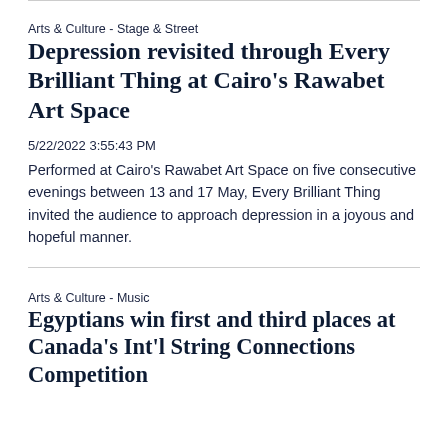Arts & Culture - Stage & Street
Depression revisited through Every Brilliant Thing at Cairo's Rawabet Art Space
5/22/2022 3:55:43 PM
Performed at Cairo's Rawabet Art Space on five consecutive evenings between 13 and 17 May, Every Brilliant Thing invited the audience to approach depression in a joyous and hopeful manner.
Arts & Culture - Music
Egyptians win first and third places at Canada's Int'l String Connections Competition